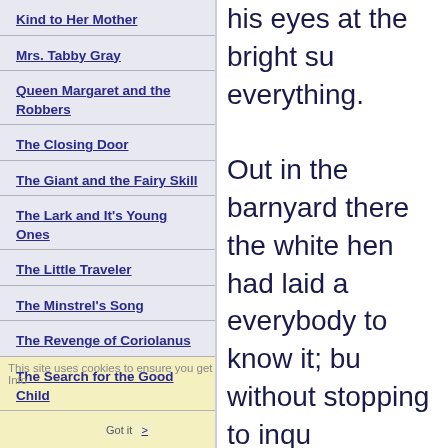Kind to Her Mother
Mrs. Tabby Gray
Queen Margaret and the Robbers
The Closing Door
The Giant and the Fairy Skill
The Lark and It's Young Ones
The Little Traveler
The Minstrel's Song
The Revenge of Coriolanus
The Search for the Good Child
his eyes at the bright su everything. Out in the barnyard there the white hen had laid a everybody to know it; bu without stopping to inqu dropped the kitten into t clothes made such a sof the kitten was so tired a he fell asleep, and Mrs. another baby. While she was away, the trunk came out in the ha that the trunk was open, and put the key in her p dream that there was an kitten inside. As soon as the lady had Tabby Gray came back,